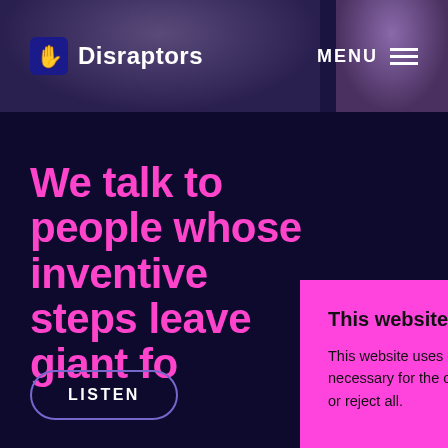[Figure (screenshot): Dark navy website background with partial photo strip at top showing blurred people]
Disraptors  MENU
We talk to people whose inventive steps leave giant fo[otsteps]
LISTEN
This website uses cookies.
This website uses cookies to provide services, personalize ads and analyze traffic. Some of them are necessary for the operation of the site, but you can decide on some. You can allow all, select individually or reject all.
Cookie Settings  I understand